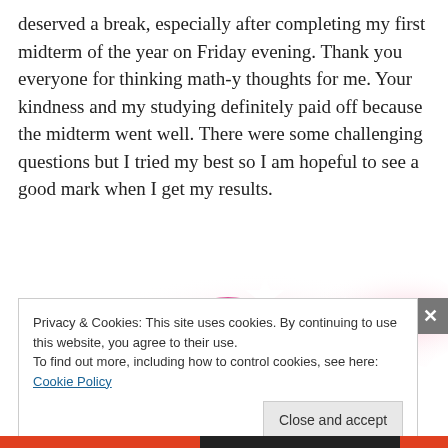deserved a break, especially after completing my first midterm of the year on Friday evening. Thank you everyone for thinking math-y thoughts for me. Your kindness and my studying definitely paid off because the midterm went well. There were some challenging questions but I tried my best so I am hopeful to see a good mark when I get my results.
[Figure (illustration): Decorative illustration with a pink/magenta semicircle arc, orange sun ray petal shapes, and white stars on a pink gradient background — cheerful celebratory graphic]
Privacy & Cookies: This site uses cookies. By continuing to use this website, you agree to their use.
To find out more, including how to control cookies, see here: Cookie Policy
Close and accept